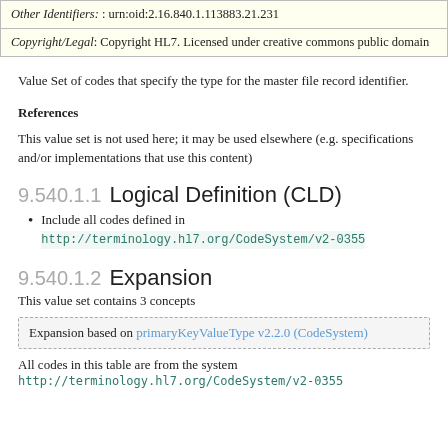| Other Identifiers: : urn:oid:2.16.840.1.113883.21.231 |
| Copyright/Legal: Copyright HL7. Licensed under creative commons public domain |
Value Set of codes that specify the type for the master file record identifier.
References
This value set is not used here; it may be used elsewhere (e.g. specifications and/or implementations that use this content)
9.540.1.1 Logical Definition (CLD)
Include all codes defined in http://terminology.hl7.org/CodeSystem/v2-0355
9.540.1.2 Expansion
This value set contains 3 concepts
Expansion based on primaryKeyValueType v2.2.0 (CodeSystem)
All codes in this table are from the system http://terminology.hl7.org/CodeSystem/v2-0355